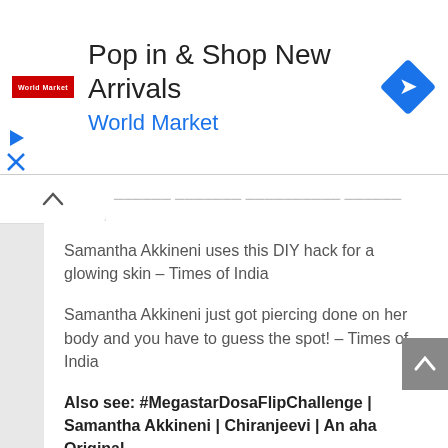[Figure (screenshot): Advertisement banner for World Market with text 'Pop in & Shop New Arrivals' and 'World Market' in blue, with a blue diamond navigation icon on the right and a red World Market logo on the left.]
Samantha Akkineni uses this DIY hack for a glowing skin – Times of India
Samantha Akkineni just got piercing done on her body and you have to guess the spot! – Times of India
Also see: #MegastarDosaFlipChallenge | Samantha Akkineni | Chiranjeevi | An aha Original
2020 deaths: Most notable deaths from Maradona and Sean Connery to Ruth Bader Ginsburg | Celebrity News | Showbiz & TV – TechnoCodex